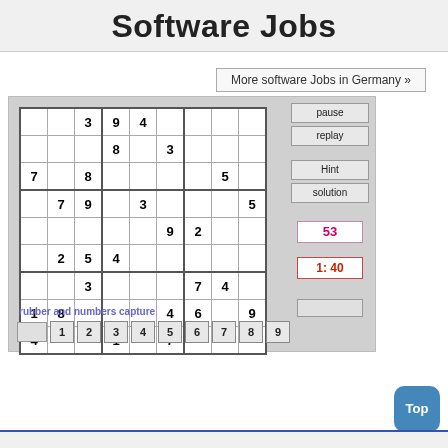Software Jobs
More software Jobs in Germany »
[Figure (screenshot): A Sudoku puzzle game interface with a 9x9 grid partially filled with numbers, control buttons (pause, replay, Hint, solution), a score display showing 53, a timer showing 1:40, and number input buttons 1-9. The text 'rubber and numbers capture' appears below the grid.]
Top